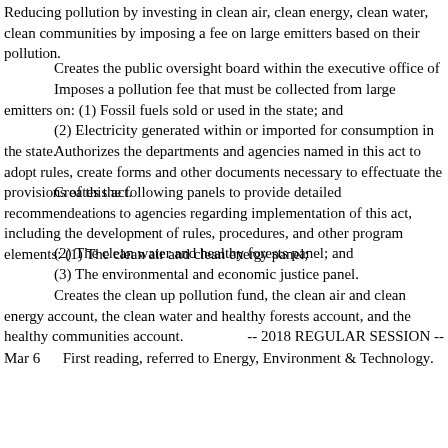Reducing pollution by investing in clean air, clean energy, clean water, clean communities by imposing a fee on large emitters based on their pollution.
Creates the public oversight board within the executive office of the governor.
Imposes a pollution fee that must be collected from large emitters on: (1) Fossil fuels sold or used in the state; and
(2) Electricity generated within or imported for consumption in the state.
Authorizes the departments and agencies named in this act to adopt rules, create forms and other documents necessary to effectuate the provisions of this act.
Creates the following panels to provide detailed recommendations to agencies regarding implementation of this act, including the development of rules, procedures, and other program elements: (1) The clean air and clean energy panel;
(2) The clean water and healthy forests panel; and
(3) The environmental and economic justice panel.
Creates the clean up pollution fund, the clean air and clean energy account, the clean water and healthy forests account, and the healthy communities account.
-- 2018 REGULAR SESSION --
Mar 6      First reading, referred to Energy, Environment & Technology.